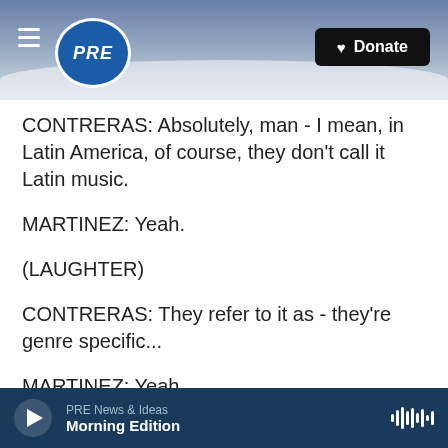PRE — Donate
CONTRERAS: Absolutely, man - I mean, in Latin America, of course, they don't call it Latin music.
MARTINEZ: Yeah.
(LAUGHTER)
CONTRERAS: They refer to it as - they're genre specific...
MARTINEZ: Yeah.
CONTRERAS: ...Hip-hop, electronic, dance music, etc.
PRE News & Ideas — Morning Edition